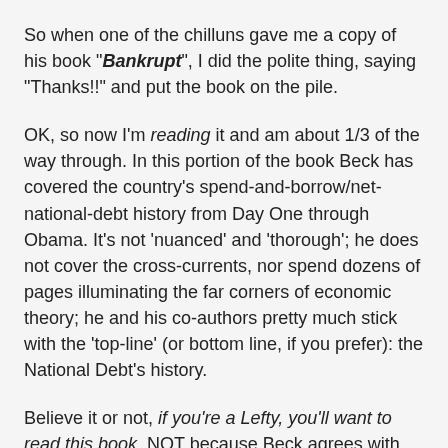So when one of the chilluns gave me a copy of his book "Bankrupt", I did the polite thing, saying "Thanks!!" and put the book on the pile.
OK, so now I'm reading it and am about 1/3 of the way through. In this portion of the book Beck has covered the country's spend-and-borrow/net-national-debt history from Day One through Obama. It's not 'nuanced' and 'thorough'; he does not cover the cross-currents, nor spend dozens of pages illuminating the far corners of economic theory; he and his co-authors pretty much stick with the 'top-line' (or bottom line, if you prefer): the National Debt's history.
Believe it or not, if you're a Lefty, you'll want to read this book. NOT because Beck agrees with the Progressive Left's governing philosophy; he doesn't. Not because he rips the skin off FDR, and even more so off LBJ, both for his fiscal insanity AND his complete and total screwup in VietNam.
Nope. You'll want to read it because he takes Ron Reagan and the Bushes over the coals. It's merciless. Yes, there was